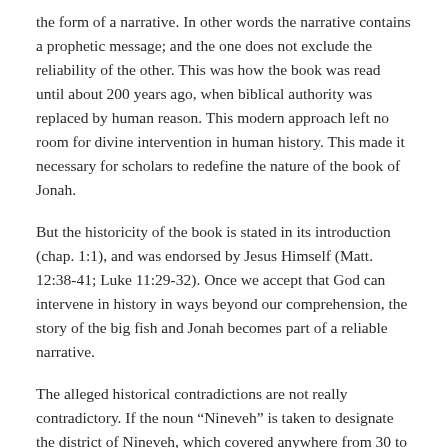the form of a narrative. In other words the narrative contains a prophetic message; and the one does not exclude the reliability of the other. This was how the book was read until about 200 years ago, when biblical authority was replaced by human reason. This modern approach left no room for divine intervention in human history. This made it necessary for scholars to redefine the nature of the book of Jonah.
But the historicity of the book is stated in its introduction (chap. 1:1), and was endorsed by Jesus Himself (Matt. 12:38-41; Luke 11:29-32). Once we accept that God can intervene in history in ways beyond our comprehension, the story of the big fish and Jonah becomes part of a reliable narrative.
The alleged historical contradictions are not really contradictory. If the noun “Nineveh” is taken to designate the district of Nineveh, which covered anywhere from 30 to 60 miles, a journey of three days would be correct. Sometimes kings were identified by the city of residence (e.g., 1 Kings 21:1); therefore the phrase “king of Nineveh” is historically reliable. The conversion of a whole city should not be too difficult to conceive, even if there is no extra biblical evidence to